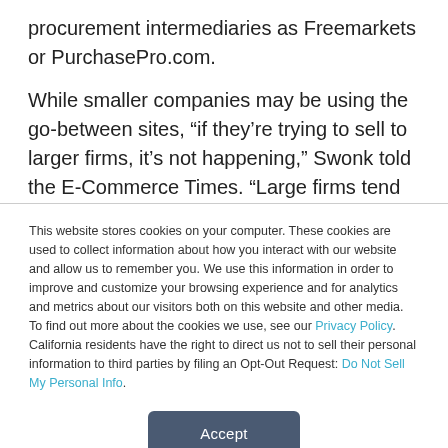procurement intermediaries as Freemarkets or PurchasePro.com.
While smaller companies may be using the go-between sites, “if they’re trying to sell to larger firms, it’s not happening,” Swonk told the E-Commerce Times. “Large firms tend to have the economies of scale to invest in their own purchasing sites.”
This website stores cookies on your computer. These cookies are used to collect information about how you interact with our website and allow us to remember you. We use this information in order to improve and customize your browsing experience and for analytics and metrics about our visitors both on this website and other media. To find out more about the cookies we use, see our Privacy Policy. California residents have the right to direct us not to sell their personal information to third parties by filing an Opt-Out Request: Do Not Sell My Personal Info.